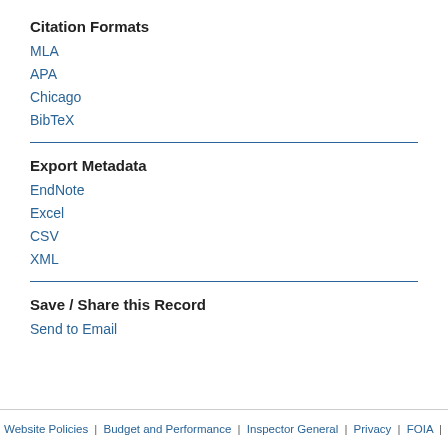Citation Formats
MLA
APA
Chicago
BibTeX
Export Metadata
EndNote
Excel
CSV
XML
Save / Share this Record
Send to Email
Website Policies | Budget and Performance | Inspector General | Privacy | FOIA | No